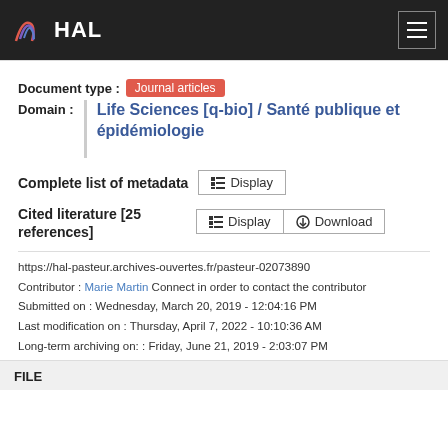HAL
Document type : Journal articles
Domain : Life Sciences [q-bio] / Santé publique et épidémiologie
Complete list of metadata  Display
Cited literature [25 references]  Display  Download
https://hal-pasteur.archives-ouvertes.fr/pasteur-02073890
Contributor : Marie Martin Connect in order to contact the contributor
Submitted on : Wednesday, March 20, 2019 - 12:04:16 PM
Last modification on : Thursday, April 7, 2022 - 10:10:36 AM
Long-term archiving on: : Friday, June 21, 2019 - 2:03:07 PM
FILE